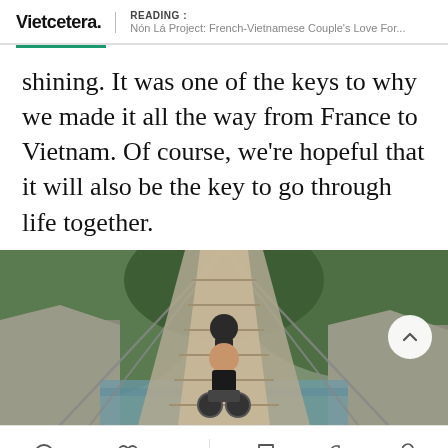Vietcetera. | READING : Nón Lá Project: French-Vietnamese Couple's Love For...
shining. It was one of the keys to why we made it all the way from France to Vietnam. Of course, we're hopeful that it will also be the key to go through life together.
[Figure (photo): Two people riding motorcycles across a long suspension bridge over a river, surrounded by green forested hills. The person in front is a woman smiling at the camera.]
0  37  [bookmark icon]  [facebook icon]  [link icon]